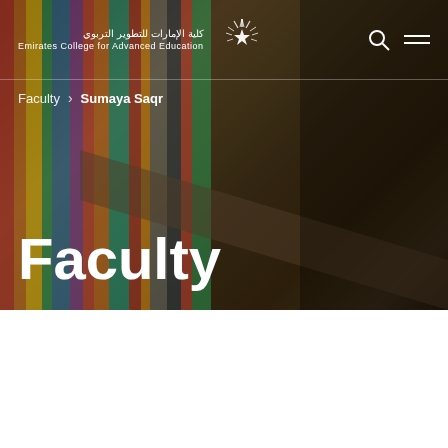[Figure (screenshot): Hero banner with blurred library bookshelf background image showing colorful book spines, with Emirates College for Advanced Education logo and navigation bar at top, breadcrumb navigation showing Faculty > Sumaya Saqr, and large white 'Faculty' text overlay]
Emirates College for Advanced Education
Faculty > Sumaya Saqr
Faculty
FACULTY
Sumaya Saqr